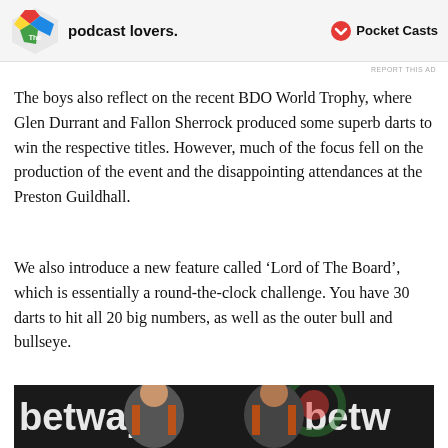[Figure (other): Advertisement banner with a colorful logo on the left, text 'podcast lovers.' in bold, and Pocket Casts logo on the right]
REPORT THIS AD
The boys also reflect on the recent BDO World Trophy, where Glen Durrant and Fallon Sherrock produced some superb darts to win the respective titles. However, much of the focus fell on the production of the event and the disappointing attendances at the Preston Guildhall.
We also introduce a new feature called ‘Lord of The Board’, which is essentially a round-the-clock challenge. You have 30 darts to hit all 20 big numbers, as well as the outer bull and bullseye.
[Figure (photo): Two darts players wearing black and orange Betway-sponsored jerseys posing together in front of a Betway branded backdrop with a dartboard visible in the background. One player is bald and smiling broadly, the other has a shaved head and is also smiling.]